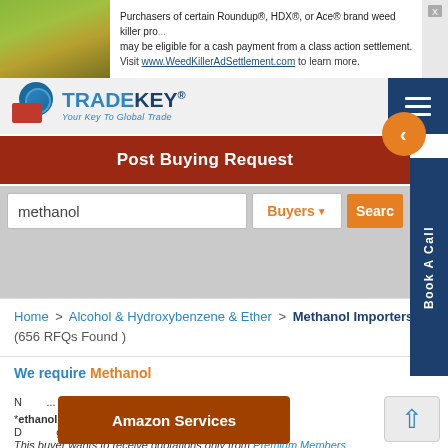[Figure (screenshot): Advertisement banner: Purchasers of certain Roundup®, HDX®, or Ace® brand weed killer products may be eligible for a cash payment from a class action settlement. Visit www.WeedKillerAdSettlement.com to learn more.]
[Figure (logo): TradeKey logo with globe and envelope icon, tagline: Your Key To Global Trade]
Post Buying Request
methanol
Buyers
Search
Book A Call
Home > Alcohol & Hydroxybenzene & Ether > Methanol Importers (656 RFQs Found )
We require Methanol
onath@*****.com Mobile: *ethanol Country: South Africa
g 02, 2022
[Figure (screenshot): Amazon Services advertisement overlay]
This buyer wants to receive quotations only from Premium Members